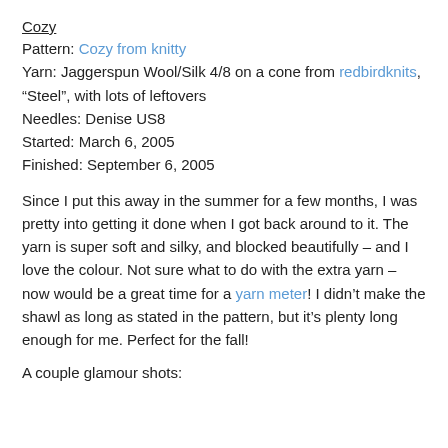Cozy
Pattern: Cozy from knitty
Yarn: Jaggerspun Wool/Silk 4/8 on a cone from redbirdknits, “Steel”, with lots of leftovers
Needles: Denise US8
Started: March 6, 2005
Finished: September 6, 2005
Since I put this away in the summer for a few months, I was pretty into getting it done when I got back around to it. The yarn is super soft and silky, and blocked beautifully – and I love the colour. Not sure what to do with the extra yarn – now would be a great time for a yarn meter! I didn’t make the shawl as long as stated in the pattern, but it’s plenty long enough for me. Perfect for the fall!
A couple glamour shots:
I also finished up one zinnia sock on the subway today – amazing what you can knit on the subway if you actually, you know, knit (as opposed to sleep) on that train ride.